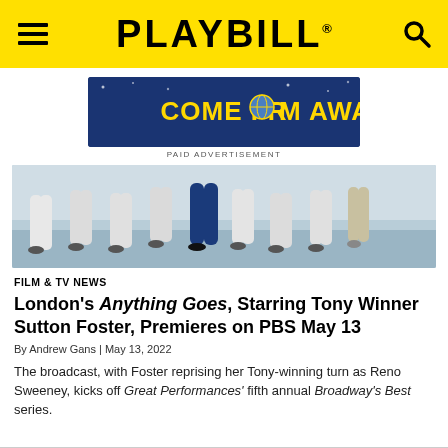PLAYBILL
[Figure (screenshot): Come From Away musical advertisement banner — blue background with yellow stylized text reading COME FROM AWAY, with a globe replacing the O in FROM]
PAID ADVERTISEMENT
[Figure (photo): Dance performance photo showing performers in white wide-leg pants and one dancer in blue flared pants on a stage with a reflective floor]
FILM & TV NEWS
London's Anything Goes, Starring Tony Winner Sutton Foster, Premieres on PBS May 13
By Andrew Gans | May 13, 2022
The broadcast, with Foster reprising her Tony-winning turn as Reno Sweeney, kicks off Great Performances' fifth annual Broadway's Best series.